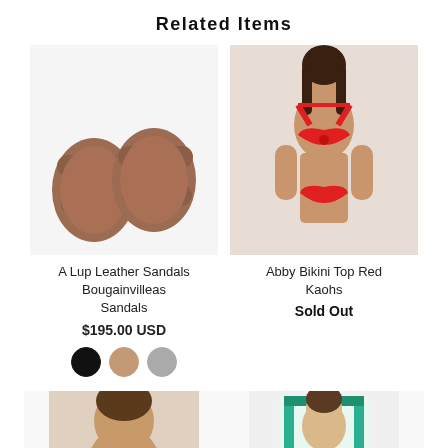Related Items
[Figure (photo): Brown leather sandals viewed from above, two-strap slide style]
[Figure (photo): Woman wearing red Abby Bikini Top and red bikini bottoms]
A Lup Leather Sandals Bougainvilleas Sandals
$195.00 USD
Abby Bikini Top Red Kaohs
Sold Out
[Figure (photo): Partial view of a person's head/hair at bottom left]
[Figure (photo): Partial view of a colorful garment at bottom right]